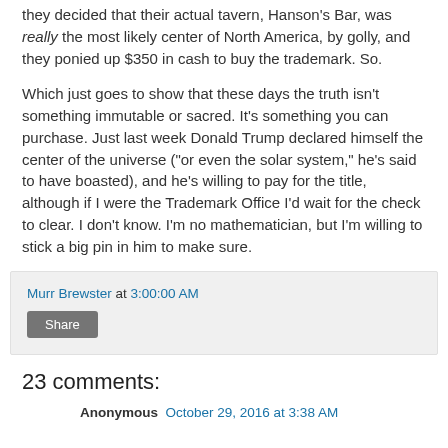they decided that their actual tavern, Hanson's Bar, was really the most likely center of North America, by golly, and they ponied up $350 in cash to buy the trademark. So.
Which just goes to show that these days the truth isn't something immutable or sacred. It's something you can purchase. Just last week Donald Trump declared himself the center of the universe ("or even the solar system," he's said to have boasted), and he's willing to pay for the title, although if I were the Trademark Office I'd wait for the check to clear. I don't know. I'm no mathematician, but I'm willing to stick a big pin in him to make sure.
Murr Brewster at 3:00:00 AM
Share
23 comments:
Anonymous  October 29, 2016 at 3:38 AM